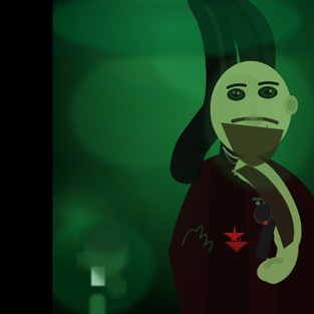[Figure (photo): Concert photograph of a male rock singer with long hair and beard performing on stage under green stage lighting. He holds a microphone close to his mouth with his right hand, wearing a leather jacket with studs, bracelets, and a chain necklace. A second partially visible person is in the background to the left, also under green light. The left edge of the image has a black border. The overall atmosphere is dark with dramatic green-tinted fog/haze.]